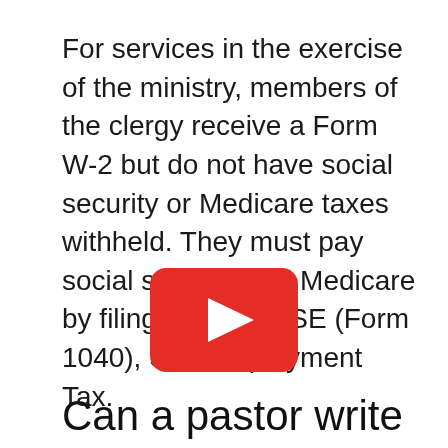For services in the exercise of the ministry, members of the clergy receive a Form W-2 but do not have social security or Medicare taxes withheld. They must pay social security and Medicare by filing Schedule SE (Form 1040), Self-Employment Tax.
[Figure (other): YouTube play button icon — red rounded rectangle with white triangle play arrow in center]
Can a pastor write off